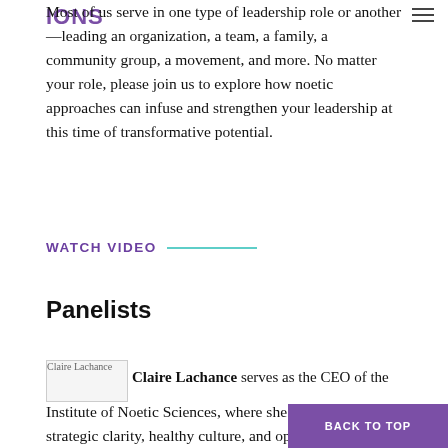IONS logo and hamburger menu
Most of us serve in one type of leadership role or another—leading an organization, a team, a family, a community group, a movement, and more. No matter your role, please join us to explore how noetic approaches can infuse and strengthen your leadership at this time of transformative potential.
WATCH VIDEO
Panelists
[Figure (photo): Claire Lachance profile photo placeholder]
Claire Lachance serves as the CEO of the Institute of Noetic Sciences, where she has championed strategic clarity, healthy culture, and operations grounded in integrity and best practices. Claire earned her MBA from Harvard Business School and a BA magna cum laude in Economics from Tufts University. Representing IONS around